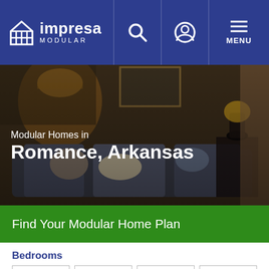impresa MODULAR
[Figure (screenshot): Hero image of a living room interior with sofa, pillows, lamps and stone wall, in dark warm tones]
Modular Homes in Romance, Arkansas
Find Your Modular Home Plan
Bedrooms
1  2  3  4+
Bathrooms
1  2  3  4+
Categories
Ranch
Two Story